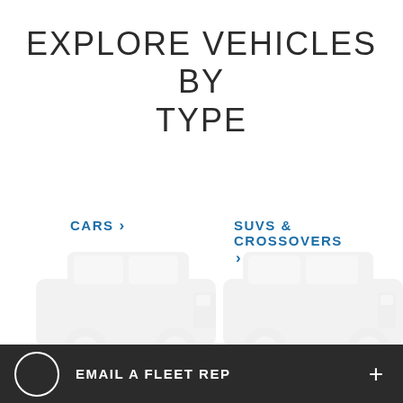EXPLORE VEHICLES BY TYPE
CARS >
SUVS & CROSSOVERS >
[Figure (illustration): Two light-colored SUVs/trucks shown in a faded white-on-white style at the bottom of the page, cropped at the lower edge]
EMAIL A FLEET REP +